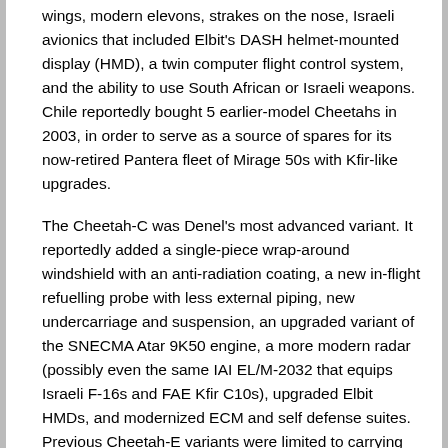wings, modern elevons, strakes on the nose, Israeli avionics that included Elbit's DASH helmet-mounted display (HMD), a twin computer flight control system, and the ability to use South African or Israeli weapons. Chile reportedly bought 5 earlier-model Cheetahs in 2003, in order to serve as a source of spares for its now-retired Pantera fleet of Mirage 50s with Kfir-like upgrades.
The Cheetah-C was Denel's most advanced variant. It reportedly added a single-piece wrap-around windshield with an anti-radiation coating, a new in-flight refuelling probe with less external piping, new undercarriage and suspension, an upgraded variant of the SNECMA Atar 9K50 engine, a more modern radar (possibly even the same IAI EL/M-2032 that equips Israeli F-16s and FAE Kfir C10s), upgraded Elbit HMDs, and modernized ECM and self defense suites. Previous Cheetah-E variants were limited to carrying short range air-air missiles, but the Cheetah-C can use Derby/R-Darter BVRAAMs (Beyond Visual Range Air to Air Missiles) as well. The